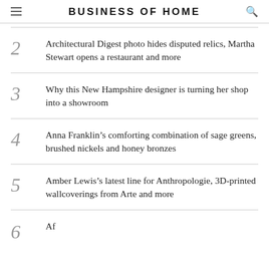BUSINESS OF HOME
2  Architectural Digest photo hides disputed relics, Martha Stewart opens a restaurant and more
3  Why this New Hampshire designer is turning her shop into a showroom
4  Anna Franklin’s comforting combination of sage greens, brushed nickels and honey bronzes
5  Amber Lewis’s latest line for Anthropologie, 3D-printed wallcoverings from Arte and more
6  After...